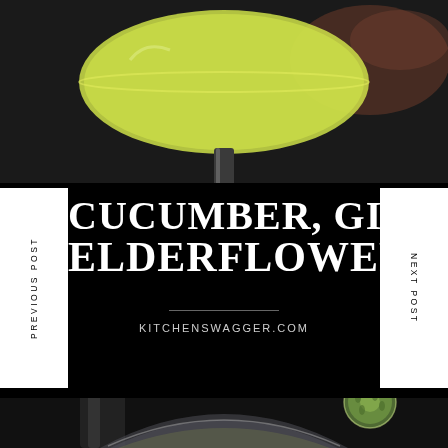[Figure (photo): Top portion: close-up of a cocktail glass with pale green/yellow liquid on a dark background, hand visible in background]
CUCUMBER, GIN & ELDERFLOWER
PREVIOUS POST
NEXT POST
KITCHENSWAGGER.COM
[Figure (photo): Bottom portion: close-up of a coupe/martini glass with a cucumber slice garnish on the rim, dark background]